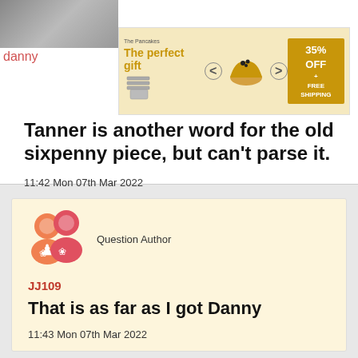[Figure (screenshot): Partial profile image in top-left corner, blurred/cropped]
[Figure (screenshot): Advertisement banner: The perfect gift with bowl image, 35% OFF + FREE SHIPPING]
danny
Tanner is another word for the old sixpenny piece, but can't parse it.
11:42 Mon 07th Mar 2022
Question Author
JJ109
That is as far as I got Danny
11:43 Mon 07th Mar 2022